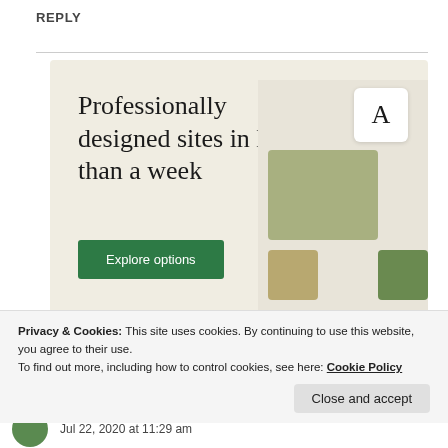REPLY
[Figure (infographic): Advertisement banner with beige/cream background. Large serif text reads 'Professionally designed sites in less than a week'. Green button labeled 'Explore options'. Right side shows mock device screenshots with food images and a card with letter A.]
Privacy & Cookies: This site uses cookies. By continuing to use this website, you agree to their use.
To find out more, including how to control cookies, see here: Cookie Policy
Close and accept
Jul 22, 2020 at 11:29 am